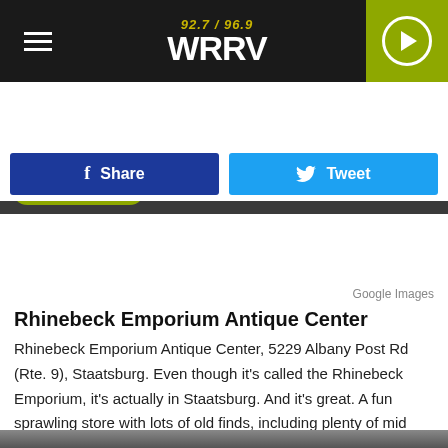92.7 / 96.9 WRRV
LISTEN NOW   MIDDAYS WITH VAL
[Figure (screenshot): Social share buttons: blue Facebook Share button and light-blue Twitter Tweet button]
[Figure (photo): Road and curb with grass strip photo from Google Images]
Google Images
Rhinebeck Emporium Antique Center
Rhinebeck Emporium Antique Center, 5229 Albany Post Rd (Rte. 9), Staatsburg. Even though it's called the Rhinebeck Emporium, it's actually in Staatsburg. And it's great. A fun sprawling store with lots of old finds, including plenty of mid century modern, if that's your thing.
[Figure (photo): Bottom of page photo partially visible]